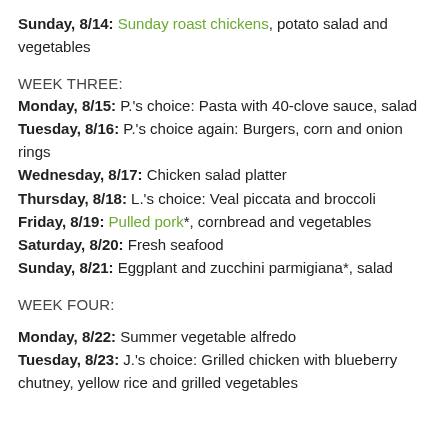Sunday, 8/14: Sunday roast chickens, potato salad and vegetables
WEEK THREE:
Monday, 8/15: P.'s choice: Pasta with 40-clove sauce, salad
Tuesday, 8/16: P.'s choice again: Burgers, corn and onion rings
Wednesday, 8/17: Chicken salad platter
Thursday, 8/18: L.'s choice: Veal piccata and broccoli
Friday, 8/19: Pulled pork*, cornbread and vegetables
Saturday, 8/20: Fresh seafood
Sunday, 8/21: Eggplant and zucchini parmigiana*, salad
WEEK FOUR:
Monday, 8/22: Summer vegetable alfredo
Tuesday, 8/23: J.'s choice: Grilled chicken with blueberry chutney, yellow rice and grilled vegetables